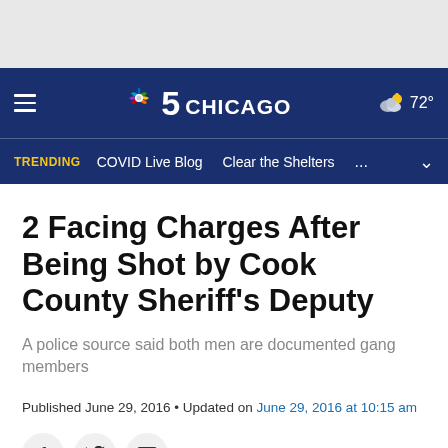[Figure (screenshot): NBC 5 Chicago website header with navy blue navigation bar showing hamburger menu, NBC peacock logo, '5 CHICAGO' text, and weather showing 72°, plus trending bar with 'TRENDING', 'COVID Live Blog', 'Clear the Shelters', '...' and chevron]
2 Facing Charges After Being Shot by Cook County Sheriff's Deputy
A police source said both men are documented gang members
Published June 29, 2016 • Updated on June 29, 2016 at 10:15 am